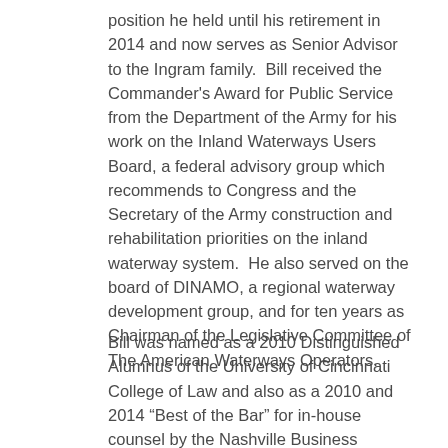position he held until his retirement in 2014 and now serves as Senior Advisor to the Ingram family.  Bill received the Commander's Award for Public Service from the Department of the Army for his work on the Inland Waterways Users Board, a federal advisory group which recommends to Congress and the Secretary of the Army construction and rehabilitation priorities on the inland waterway system.  He also served on the board of DINAMO, a regional waterway development group, and for ten years as Chairman of the Legislative Committee of The American Waterways Operators.
Bill was named as a 2010 Distinguished Alumnus of the University of Cincinnati College of Law and also as a 2010 and 2014 “Best of the Bar” for in-house counsel by the Nashville Business Journal.  He is past President of the Tennessee Historical